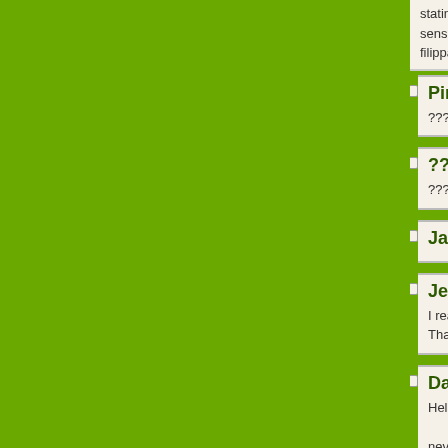stating and the way in which you say it. You make it sensible. I can not wait to read far more from you. filippa k washed tencel blouse mostli.sewomabest.co
Pirikusgot за ??????????? ????????? ???????? ?????
???????? ??????? за ??????????? ? ????????? ????????? ???????? ?? ? ?????
Jameskiz за ??????????? ????????,
Jessebreby за ??????????? ??????? I read and drink CocaCola Thank you for the information!
DavidLiafe за ??????????? ????????? Hello guys. And Bye. neversurrenderboys ;)
napilim.pro за ??????????? ??????? ????????????????? ?????? ????????? ????? ??????.